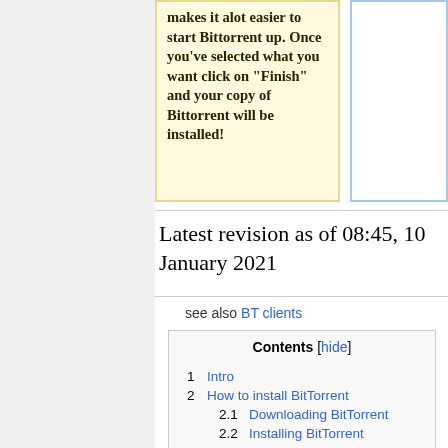makes it alot easier to start Bittorrent up. Once you've selected what you want click on "Finish" and your copy of Bittorrent will be installed!
Latest revision as of 08:45, 10 January 2021
see also BT clients
| Contents [hide] |
| --- |
| 1 Intro |
| 2 How to install BitTorrent |
| 2.1 Downloading BitTorrent |
| 2.2 Installing BitTorrent |